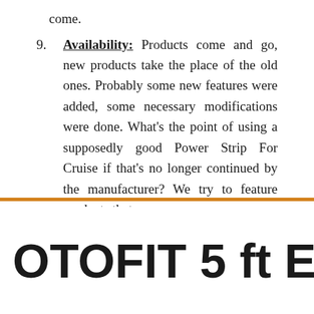come.
9. Availability: Products come and go, new products take the place of the old ones. Probably some new features were added, some necessary modifications were done. What’s the point of using a supposedly good Power Strip For Cruise if that’s no longer continued by the manufacturer? We try to feature products that
OTOFIT 5 ft Exte